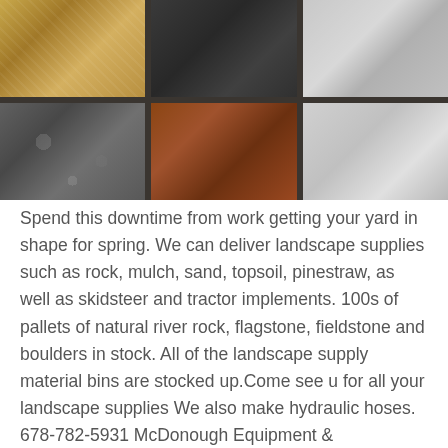[Figure (photo): A grid display of various landscape supply materials in wooden bins, including yellow wood chips/mulch, dark gravel, light/white aggregate, tan shells, dark stones, brown mulch/soil, white aggregate, and sand.]
Spend this downtime from work getting your yard in shape for spring. We can deliver landscape supplies such as rock, mulch, sand, topsoil, pinestraw, as well as skidsteer and tractor implements. 100s of pallets of natural river rock, flagstone, fieldstone and boulders in stock. All of the landscape supply material bins are stocked up.Come see u for all your landscape supplies We also make hydraulic hoses. 678-782-5931 McDonough Equipment & Attachments sells affordable Commercial